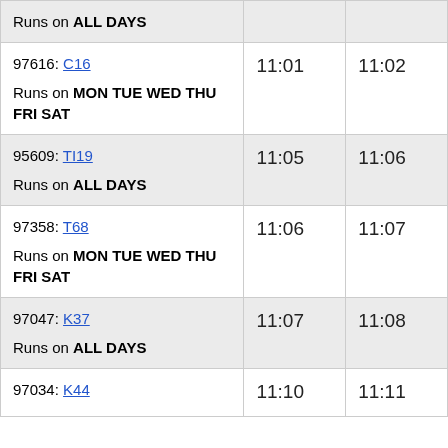| Trip / Route | Stop 1 | Stop 2 |
| --- | --- | --- |
| Runs on ALL DAYS |  |  |
| 97616: C16
Runs on MON TUE WED THU FRI SAT | 11:01 | 11:02 |
| 95609: TI19
Runs on ALL DAYS | 11:05 | 11:06 |
| 97358: T68
Runs on MON TUE WED THU FRI SAT | 11:06 | 11:07 |
| 97047: K37
Runs on ALL DAYS | 11:07 | 11:08 |
| 97034: K44 | 11:10 | 11:11 |